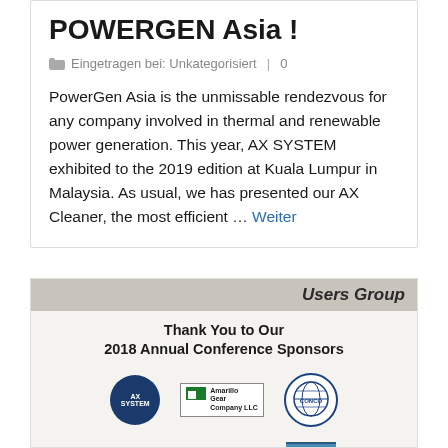POWERGEN Asia !
Eingetragen bei: Unkategorisiert | 0
PowerGen Asia is the unmissable rendezvous for any company involved in thermal and renewable power generation. This year, AX SYSTEM exhibited to the 2019 edition at Kuala Lumpur in Malaysia. As usual, we has presented our AX Cleaner, the most efficient … Weiter
[Figure (photo): Photo of a sponsor board at Users Group conference showing 'Thank You to Our 2018 Annual Conference Sponsors' with logos: AX System, Amarillo Gear Company LLC, CONCO, ENERGYEN, ENEXIO, and another sponsor]